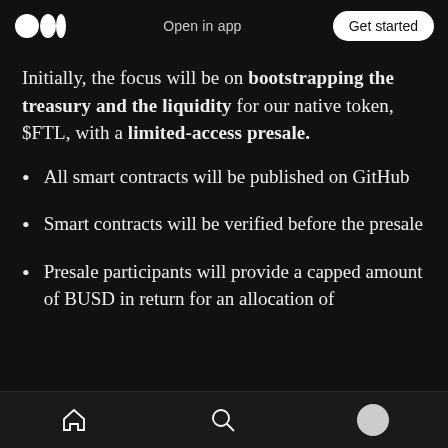Open in app   Get started
Initially, the focus will be on bootstrapping the treasury and the liquidity for our native token, $FTL, with a limited-access presale.
All smart contracts will be published on GitHub
Smart contracts will be verified before the presale
Presale participants will provide a capped amount of BUSD in return for an allocation of
[home icon] [search icon] [profile icon]